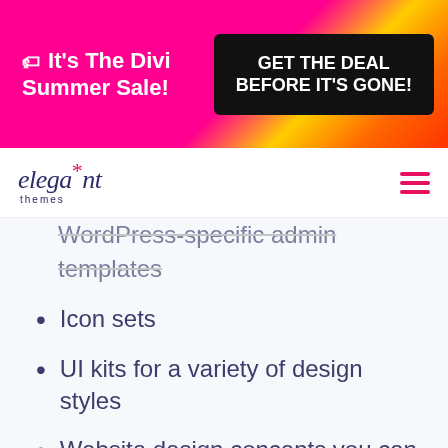[Figure (screenshot): Pink/magenta promotional banner with text 'It's The Divi Summer Sale!' on left and black button 'GET THE DEAL BEFORE IT'S GONE!' on right]
[Figure (logo): Elegant Themes logo in dark blue italic serif font with pink asterisk above the 't', and 'themes' in small caps below]
WordPress-specific admin templates
Icon sets
UI kits for a variety of design styles
Website design concepts you can pull from
Specific elements like video players or Facebook content